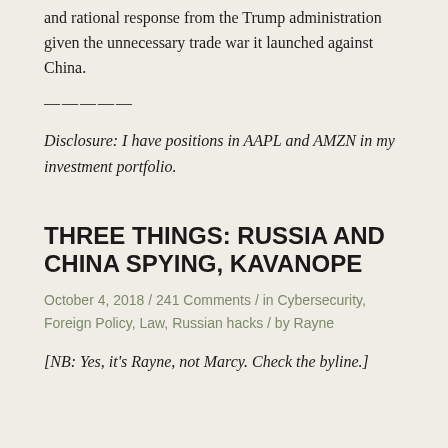and rational response from the Trump administration given the unnecessary trade war it launched against China.
—————
Disclosure: I have positions in AAPL and AMZN in my investment portfolio.
THREE THINGS: RUSSIA AND CHINA SPYING, KAVANOPE
October 4, 2018 / 241 Comments / in Cybersecurity, Foreign Policy, Law, Russian hacks / by Rayne
[NB: Yes, it's Rayne, not Marcy. Check the byline.]